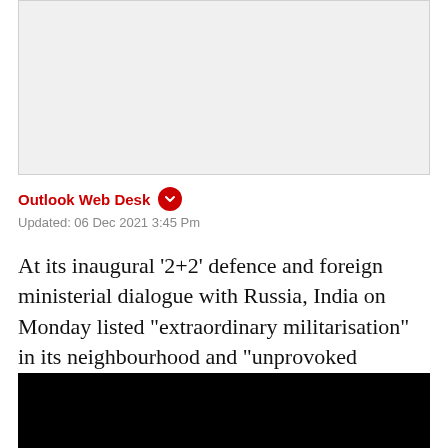[Figure (other): Gray placeholder image area at top of article]
Outlook Web Desk
Updated: 06 Dec 2021 3:45 Pm
At its inaugural '2+2' defence and foreign ministerial dialogue with Russia, India on Monday listed "extraordinary militarisation" in its neighbourhood and "unprovoked aggression" along its northern border among major challenges facing the country.
[Figure (other): Black video player block at bottom of page]